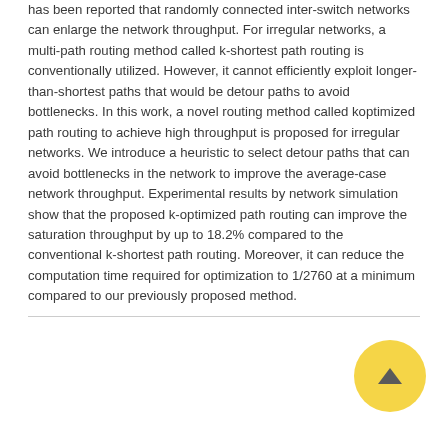has been reported that randomly connected inter-switch networks can enlarge the network throughput. For irregular networks, a multi-path routing method called k-shortest path routing is conventionally utilized. However, it cannot efficiently exploit longer-than-shortest paths that would be detour paths to avoid bottlenecks. In this work, a novel routing method called koptimized path routing to achieve high throughput is proposed for irregular networks. We introduce a heuristic to select detour paths that can avoid bottlenecks in the network to improve the average-case network throughput. Experimental results by network simulation show that the proposed k-optimized path routing can improve the saturation throughput by up to 18.2% compared to the conventional k-shortest path routing. Moreover, it can reduce the computation time required for optimization to 1/2760 at a minimum compared to our previously proposed method.
| Original language |  |
| --- | --- |
| English |  |
| Pages (from-to) |  |
| 2471-2479 |  |